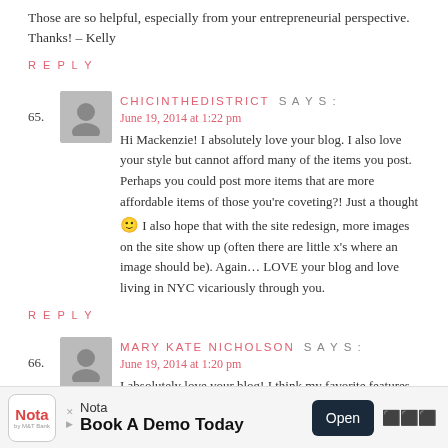Those are so helpful, especially from your entrepreneurial perspective. Thanks! – Kelly
REPLY
65. CHICINTHEDISTRICT SAYS:
June 19, 2014 at 1:22 pm
Hi Mackenzie! I absolutely love your blog. I also love your style but cannot afford many of the items you post. Perhaps you could post more items that are more affordable items of those you're coveting?! Just a thought 🙂 I also hope that with the site redesign, more images on the site show up (often there are little x's where an image should be). Again… LOVE your blog and love living in NYC vicariously through you.
REPLY
66. MARY KATE NICHOLSON SAYS:
June 19, 2014 at 1:20 pm
I absolutely love your blog! I think my favorite features are the career spotlights and outfits, of course! I really like it when you have more affordable centered outfits as well, like an Old Navy dress, for example. More looks for less would be great! And , of
[Figure (other): Advertisement banner: Nota app - Book A Demo Today with Open button]